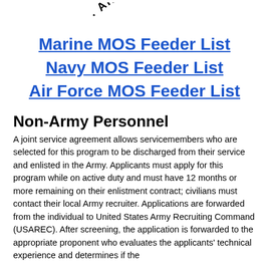[Figure (logo): Partial arc text logo reading 'AIR FOR' (Air Force emblem, partially visible at top)]
Marine MOS Feeder List
Navy MOS Feeder List
Air Force MOS Feeder List
Non-Army Personnel
A joint service agreement allows servicemembers who are selected for this program to be discharged from their service and enlisted in the Army. Applicants must apply for this program while on active duty and must have 12 months or more remaining on their enlistment contract; civilians must contact their local Army recruiter. Applications are forwarded from the individual to United States Army Recruiting Command (USAREC). After screening, the application is forwarded to the appropriate proponent who evaluates the applicants' technical experience and determines if the